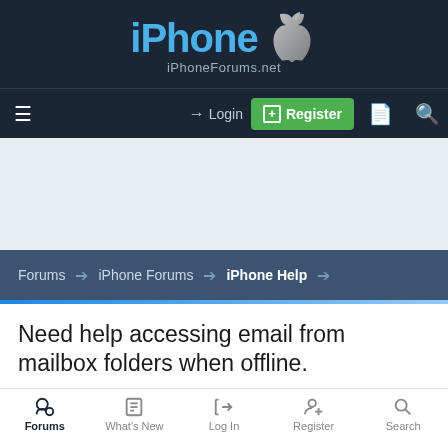iPhone iPhoneForums.net
Login | Register
Forums › iPhone Forums › iPhone Help
Need help accessing email from mailbox folders when offline.
Archertina · May 22, 2012
Forums  What's New  Log In  Register  Search